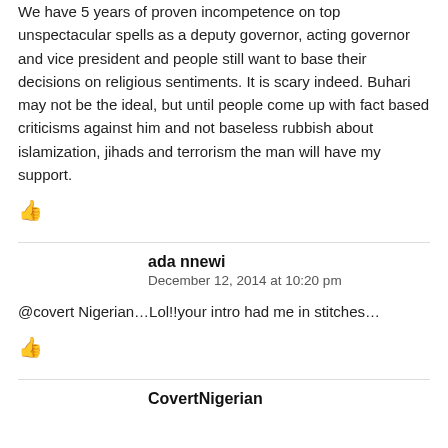We have 5 years of proven incompetence on top unspectacular spells as a deputy governor, acting governor and vice president and people still want to base their decisions on religious sentiments. It is scary indeed. Buhari may not be the ideal, but until people come up with fact based criticisms against him and not baseless rubbish about islamization, jihads and terrorism the man will have my support.
👍
ada nnewi
December 12, 2014 at 10:20 pm
@covert Nigerian…Lol!!your intro had me in stitches…
👍
CovertNigerian